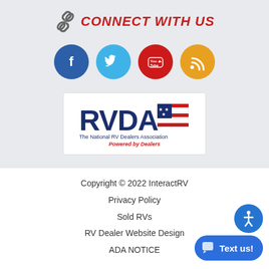CONNECT WITH US
[Figure (illustration): Social media icons: Facebook (blue circle), Twitter (light blue circle), YouTube (red circle), RSS (orange circle)]
[Figure (logo): RVDA - The National RV Dealers Association, Powered by Dealers logo]
Copyright © 2022 InteractRV
Privacy Policy
Sold RVs
RV Dealer Website Design
ADA NOTICE